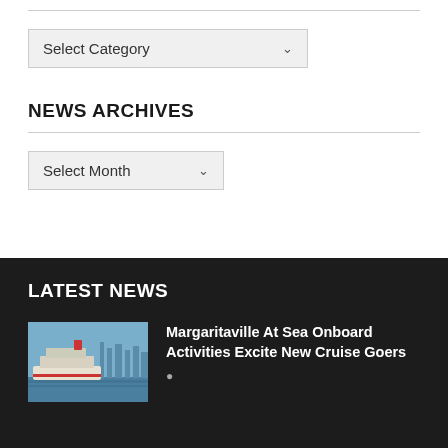Select Category
NEWS ARCHIVES
Select Month
LATEST NEWS
[Figure (photo): Cruise ship at sea near a coastal city skyline]
Margaritaville At Sea Onboard Activities Excite New Cruise Goers